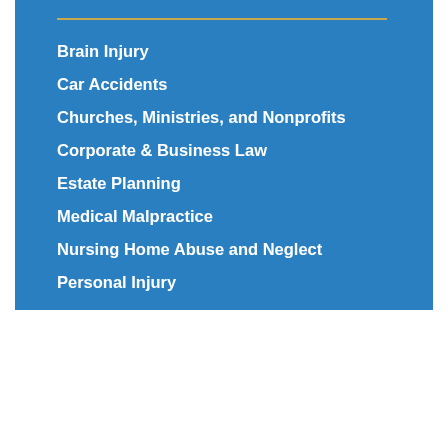Brain Injury
Car Accidents
Churches, Ministries, and Nonprofits
Corporate & Business Law
Estate Planning
Medical Malpractice
Nursing Home Abuse and Neglect
Personal Injury